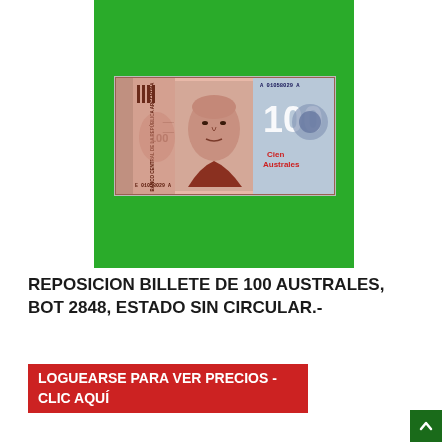[Figure (photo): Argentine 100 Australes banknote (BOT 2848) displayed on a green background. The note shows 'BANCO CENTRAL DE LA REPÚBLICA ARGENTINA' on the left side, a portrait of a man in the center, and '100 Cien Australes' on the right with serial number E 01058029 A.]
REPOSICION BILLETE DE 100 AUSTRALES, BOT 2848, ESTADO SIN CIRCULAR.-
LOGUEARSE PARA VER PRECIOS - CLIC AQUÍ